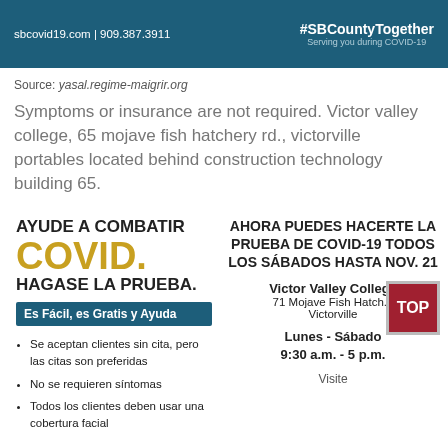sbcovid19.com | 909.387.3911 | #SBCountyTogether Serving you during COVID-19
Source: yasal.regime-maigrir.org
Symptoms or insurance are not required. Victor valley college, 65 mojave fish hatchery rd., victorville portables located behind construction technology building 65.
[Figure (infographic): COVID-19 testing advertisement in Spanish. Left side: AYUDE A COMBATIR COVID. HAGASE LA PRUEBA. Es Fácil, es Gratis y Ayuda. Bullet points listing walk-in clients accepted, no symptoms required, all clients must wear face covering. Right side: AHORA PUEDES HACERTE LA PRUEBA DE COVID-19 TODOS LOS SÁBADOS HASTA NOV. 21. Victor Valley College, 71 Mojave Fish Hatchery, Victorville. Lunes - Sábado 9:30 a.m. - 5 p.m. Visite. Red TOP badge.]